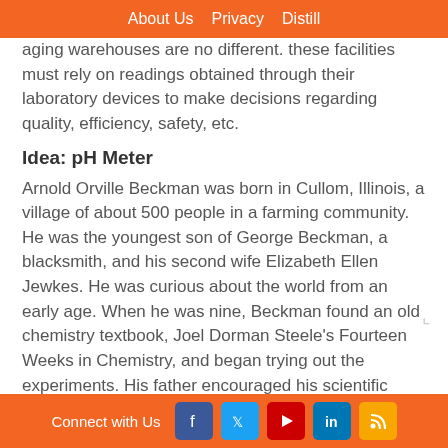About Us  Privacy  Distill
aging warehouses are no different. these facilities must rely on readings obtained through their laboratory devices to make decisions regarding quality, efficiency, safety, etc.
Idea: pH Meter
Arnold Orville Beckman was born in Cullom, Illinois, a village of about 500 people in a farming community. He was the youngest son of George Beckman, a blacksmith, and his second wife Elizabeth Ellen Jewkes. He was curious about the world from an early age. When he was nine, Beckman found an old chemistry textbook, Joel Dorman Steele's Fourteen Weeks in Chemistry, and began trying out the experiments. His father encouraged his scientific interests by let ting him convert a toolshed into a laboratory.
After receiving a Caltech Ph.D. in photochemistry in 1928 for this application of quantum theory to chemical reactions, Beckman was asked to stay as a professor.
Connect with Us